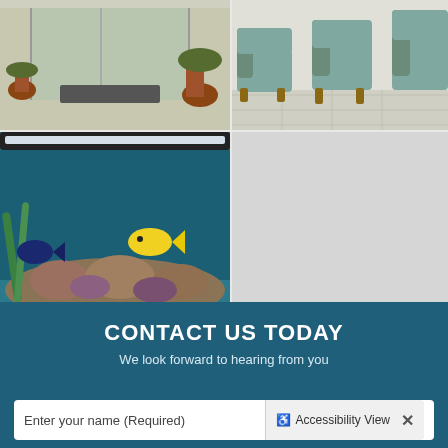[Figure (photo): Office entrance area with plants and glass doors]
[Figure (photo): Waiting room with green/teal chairs and wooden frames]
[Figure (photo): Large aquarium with tropical fish, coral, and plants]
CONTACT US TODAY
We look forward to hearing from you
Enter your name (Required)
Accessibility View